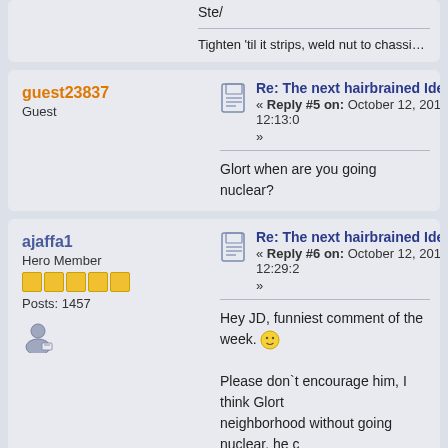Ste/
Tighten 'til it strips, weld nut to chassis, peen stu...
guest23837
Guest
Re: The next hairbrained Idea......
« Reply #5 on: October 12, 2018, 12:13:0...
Glort when are you going nuclear?
ajaffa1
Hero Member
Posts: 1457
Re: The next hairbrained Idea......
« Reply #6 on: October 12, 2018, 12:29:2...
Hey JD, funniest comment of the week.
Please don't encourage him, I think Glort... neighborhood without going nuclear, he c...
That said, to run a barbecue or gas cooke... about 14 psi, which should be easily and ...
Bob